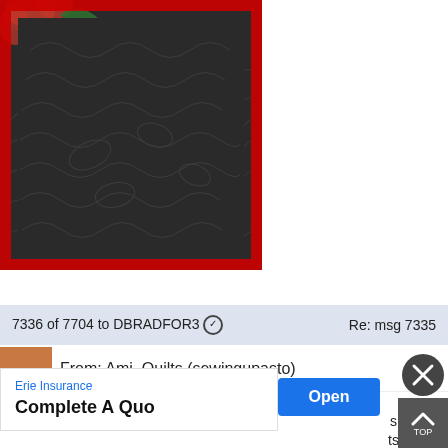[Figure (photo): Close-up photo of a dark quilted fabric with red border trim and floral/leaf quilting pattern in the upper-left corner]
7336 of 7704 to DBRADFOR3 ✓    Re: msg 7335
From: Ami_Quilts (sewingupasto)
Complete A Quo
s sound
ts in a show.